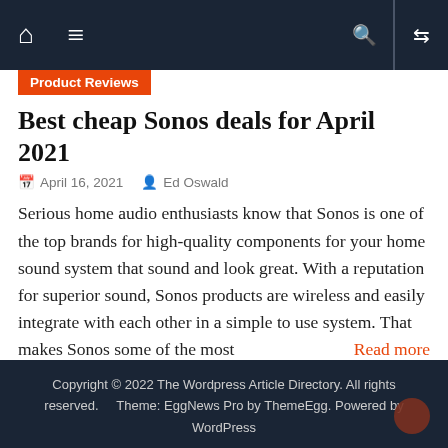Navigation bar with home, menu, search, and shuffle icons
Product Reviews
Best cheap Sonos deals for April 2021
April 16, 2021   Ed Oswald
Serious home audio enthusiasts know that Sonos is one of the top brands for high-quality components for your home sound system that sound and look great. With a reputation for superior sound, Sonos products are wireless and easily integrate with each other in a simple to use system. That makes Sonos some of the most   Read more
◄ The lib...
Astrono... ►
Copyright © 2022 The Wordpress Article Directory. All rights reserved.  Theme: EggNews Pro by ThemeEgg. Powered by WordPress